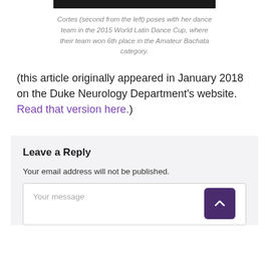[Figure (photo): Top portion of a photo showing a dark/black cropped image strip]
Cortes (second from the left) poses with her dance team in the 2015 World Latin Dance Cup, where their team won 6th place in the Amateur Bachata category.
(this article originally appeared in January 2018 on the Duke Neurology Department’s website. Read that version here.)
Leave a Reply
Your email address will not be published.
Your message